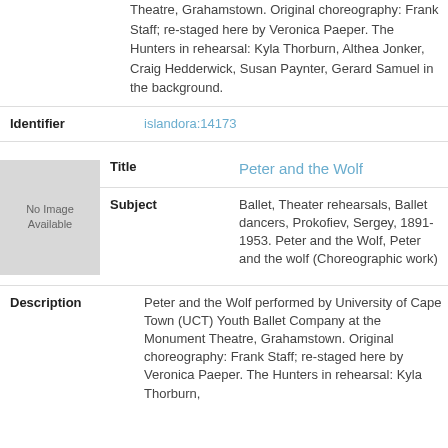Theatre, Grahamstown. Original choreography: Frank Staff; re-staged here by Veronica Paeper. The Hunters in rehearsal: Kyla Thorburn, Althea Jonker, Craig Hedderwick, Susan Paynter, Gerard Samuel in the background.
Identifier
islandora:14173
[Figure (other): No Image Available placeholder box]
Title
Peter and the Wolf
Subject
Ballet, Theater rehearsals, Ballet dancers, Prokofiev, Sergey, 1891-1953. Peter and the Wolf, Peter and the wolf (Choreographic work)
Description
Peter and the Wolf performed by University of Cape Town (UCT) Youth Ballet Company at the Monument Theatre, Grahamstown. Original choreography: Frank Staff; re-staged here by Veronica Paeper. The Hunters in rehearsal: Kyla Thorburn,